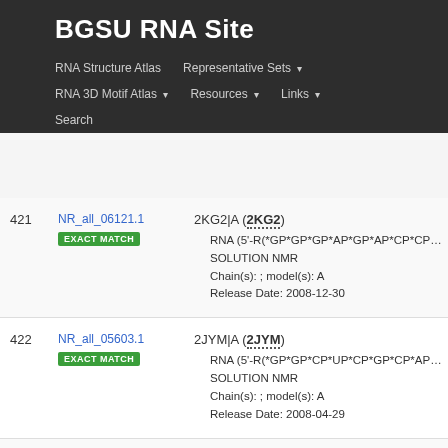BGSU RNA Site
RNA Structure Atlas | Representative Sets | RNA 3D Motif Atlas | Resources | Links | Search
| # | ID | Info |
| --- | --- | --- |
| 421 | NR_all_06121.1 EXACT MATCH | 2KG2|A (2KG2) • RNA (5'-R(*GP*GP*GP*AP*GP*AP*CP*CP*UP*G • SOLUTION NMR • Chain(s): ; model(s): A • Release Date: 2008-12-30 |
| 422 | NR_all_05603.1 EXACT MATCH | 2JYM|A (2JYM) • RNA (5'-R(*GP*GP*CP*UP*CP*GP*CP*AP*GP*C • SOLUTION NMR • Chain(s): ; model(s): A • Release Date: 2008-04-29 |
| 423 | NR_all_07236.1 EXACT MATCH | 1K8W|B (1K8W) • 5'-R(*GP*GP*GP*AP*AP*GP*GP*GP*GP*G |